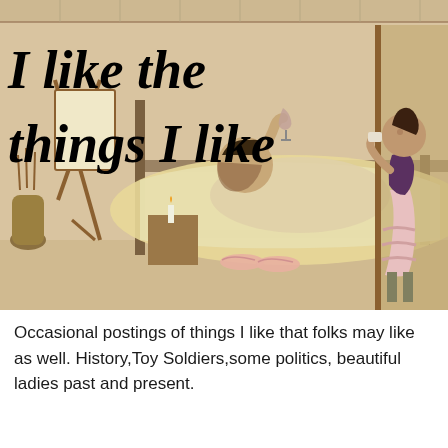[Figure (illustration): Vintage sepia-toned illustration of a man reclining in bed drinking wine, with an easel and art supplies to the left, and a woman in corset and ruffled skirt standing in a doorway to the right. Slippers on the floor. The text 'I like the things I like' is overlaid in bold italic serif font on the upper left.]
Occasional postings of things I like that folks may like as well. History,Toy Soldiers,some politics, beautiful ladies past and present.